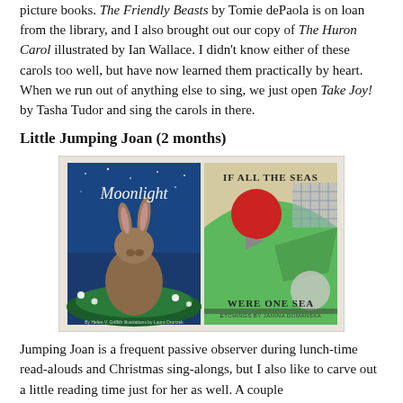picture books. The Friendly Beasts by Tomie dePaola is on loan from the library, and I also brought out our copy of The Huron Carol illustrated by Ian Wallace. I didn't know either of these carols too well, but have now learned them practically by heart. When we run out of anything else to sing, we just open Take Joy! by Tasha Tudor and sing the carols in there.
Little Jumping Joan (2 months)
[Figure (illustration): Two children's book covers side by side: left is 'Moonlight' showing a rabbit in a night garden scene, right is 'If All the Seas Were One Sea' with etchings by Janina Domanska showing a stylized bird in green and red.]
Jumping Joan is a frequent passive observer during lunch-time read-alouds and Christmas sing-alongs, but I also like to carve out a little reading time just for her as well. A couple